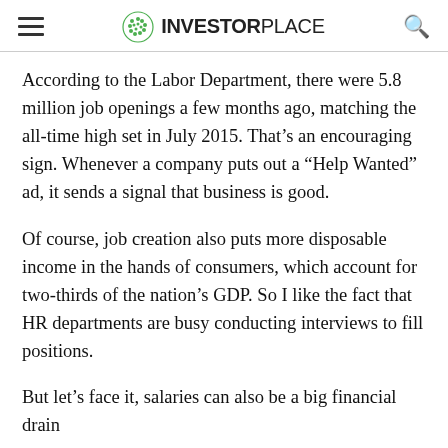INVESTORPLACE
According to the Labor Department, there were 5.8 million job openings a few months ago, matching the all-time high set in July 2015. That's an encouraging sign. Whenever a company puts out a “Help Wanted” ad, it sends a signal that business is good.
Of course, job creation also puts more disposable income in the hands of consumers, which account for two-thirds of the nation’s GDP. So I like the fact that HR departments are busy conducting interviews to fill positions.
But let’s face it, salaries can also be a big financial drain on a business. They are one of the hardest costs to cut.